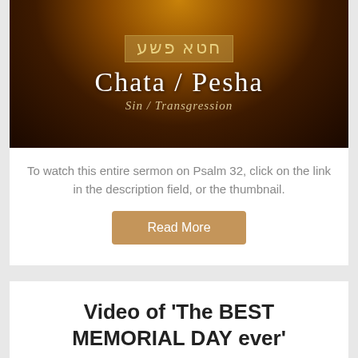[Figure (illustration): Book/sermon cover image with dark amber/brown smoky background, Hebrew text in a box at top, large white serif text 'CHATA / PESHA' and italic subtitle 'Sin / Transgression']
To watch this entire sermon on Psalm 32, click on the link in the description field, or the thumbnail.
Read More
Video of 'The BEST MEMORIAL DAY ever'
[Figure (illustration): Partial yellow/gold circular sun graphic visible at bottom of page, cut off]